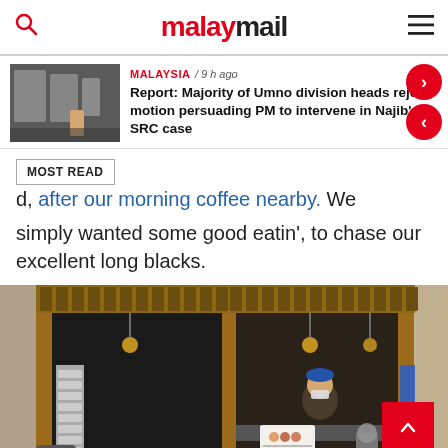malaymail
Report: Majority of Umno division heads reject motion persuading PM to intervene in Najib's SRC case
MALAYSIA / 9 h ago
d, after our morning coffee nearby. We simply wanted some good eatin', to chase our excellent long blacks.
[Figure (photo): Interior view of a restaurant/food stall with wooden framework entrance, glass windows, a worker in blue cap and mask behind the counter, stacked plates on left, fan and menu board visible.]